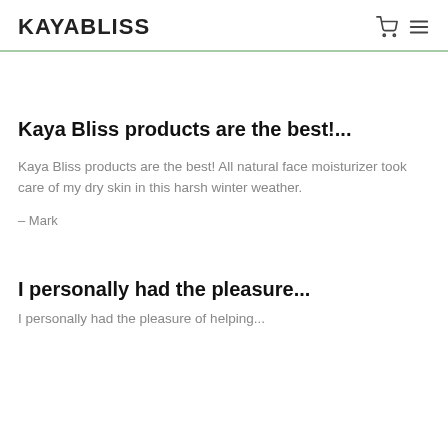KAYABLISS
Kaya Bliss products are the best!...
Kaya Bliss products are the best! All natural face moisturizer took care of my dry skin in this harsh winter weather.
– Mark
I personally had the pleasure...